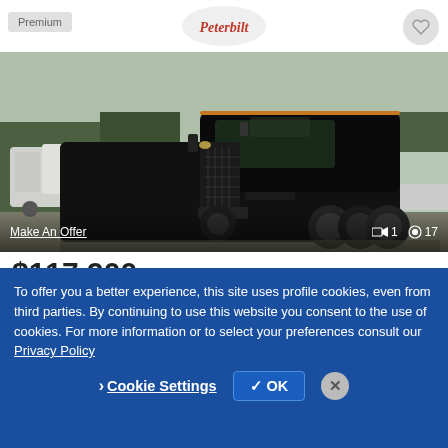[Figure (screenshot): Premium badge top-left, Peterbilt logo center top, heart/favorite button top-right]
[Figure (photo): 2019 Peterbilt 579 black semi truck parked in a lot, side-front view. Other white trucks and trees in background.]
Make An Offer
1  17
$117,900
2019 PETERBILT 579 Conventional - Sleeper Truck, Tractor
415,690 miles
To offer you a better experience, this site uses profile cookies, even from third parties. By continuing to use this website you consent to the use of cookies. For more information or to select your preferences consult our Privacy Policy
Cookie Settings
OK